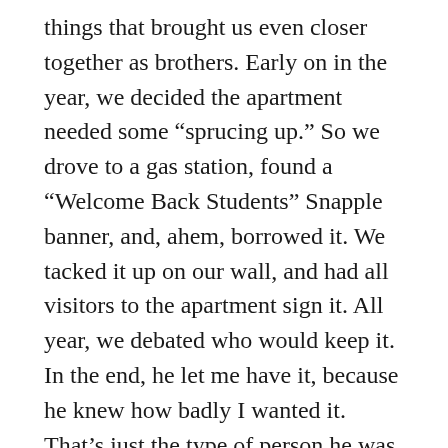things that brought us even closer together as brothers. Early on in the year, we decided the apartment needed some “sprucing up.” So we drove to a gas station, found a “Welcome Back Students” Snapple banner, and, ahem, borrowed it. We tacked it up on our wall, and had all visitors to the apartment sign it. All year, we debated who would keep it. In the end, he let me have it, because he knew how badly I wanted it. That’s just the type of person he was.
Two months later, for the only time in our college careers, the Yankees LOST the World Series. We celebrated in the backyard, in full Mets and Red Sox gear, respectively. Our Yankee fan neighbors